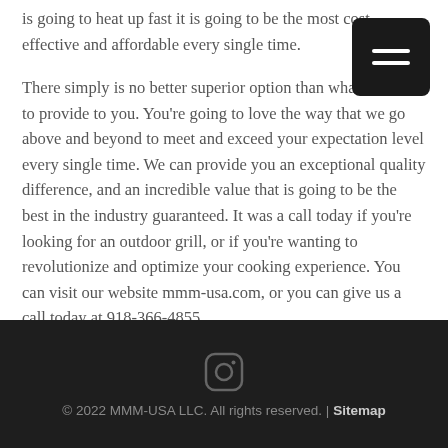is going to heat up fast it is going to be the most cost-effective and affordable every single time.
There simply is no better superior option than what we can to provide to you. You're going to love the way that we go above and beyond to meet and exceed your expectation level every single time. We can provide you an exceptional quality difference, and an incredible value that is going to be the best in the industry guaranteed. It was a call today if you're looking for an outdoor grill, or if you're wanting to revolutionize and optimize your cooking experience. You can visit our website mmm-usa.com, or you can give us a call today at 918-366-4855.
© 2022 MMM-USA LLC. All rights reserved. | Sitemap